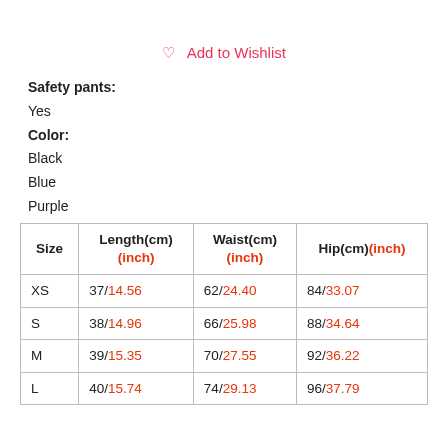♡ Add to Wishlist
Safety pants: Yes
Color: Black Blue Purple
| Size | Length(cm)(inch) | Waist(cm)(inch) | Hip(cm)(inch) |
| --- | --- | --- | --- |
| XS | 37/14.56 | 62/24.40 | 84/33.07 |
| S | 38/14.96 | 66/25.98 | 88/34.64 |
| M | 39/15.35 | 70/27.55 | 92/36.22 |
| L | 40/15.74 | 74/29.13 | 96/37.79 |